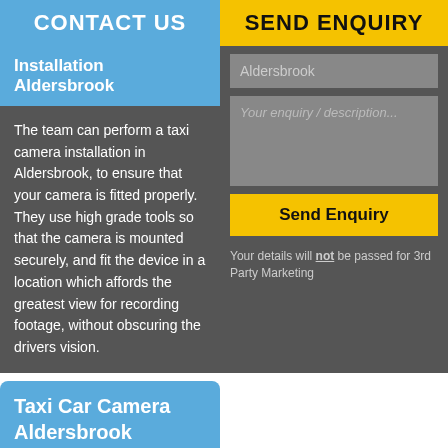CONTACT US
SEND ENQUIRY
Installation Aldersbrook
The team can perform a taxi camera installation in Aldersbrook, to ensure that your camera is fitted properly. They use high grade tools so that the camera is mounted securely, and fit the device in a location which affords the greatest view for recording footage, without obscuring the drivers vision.
Aldersbrook
Your enquiry / description...
Send Enquiry
Your details will not be passed for 3rd Party Marketing
Taxi Car Camera Aldersbrook
You can monitor any taxi car camera in Aldersbrook